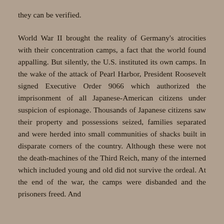they can be verified.
World War II brought the reality of Germany's atrocities with their concentration camps, a fact that the world found appalling. But silently, the U.S. instituted its own camps. In the wake of the attack of Pearl Harbor, President Roosevelt signed Executive Order 9066 which authorized the imprisonment of all Japanese-American citizens under suspicion of espionage. Thousands of Japanese citizens saw their property and possessions seized, families separated and were herded into small communities of shacks built in disparate corners of the country. Although these were not the death-machines of the Third Reich, many of the interned which included young and old did not survive the ordeal. At the end of the war, the camps were disbanded and the prisoners freed. And